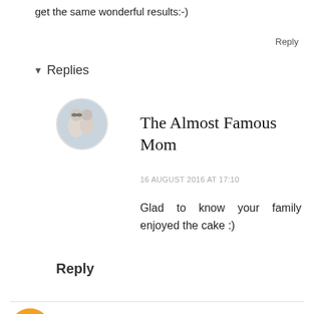get the same wonderful results:-)
Reply
Replies
[Figure (photo): Circular avatar photo of two people (The Almost Famous Mom)]
The Almost Famous Mom
16 AUGUST 2016 AT 17:10
Glad to know your family enjoyed the cake :)
Reply
[Figure (logo): Blogger orange circular avatar icon for Jade]
Jade